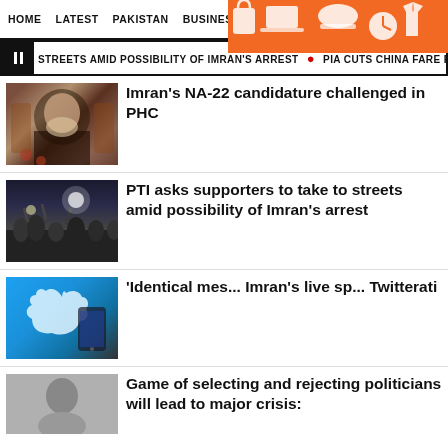HOME  LATEST  PAKISTAN  BUSINESS  SCI-TECH  PHONES  W
STREETS AMID POSSIBILITY OF IMRAN'S ARREST  🔴  PIA CUTS CHINA FARE FOR STUD
Imran's NA-22 candidature challenged in PHC
PTI asks supporters to take to streets amid possibility of Imran's arrest
'Identical mes... Imran's live sp... Twitterati
Game of selecting and rejecting politicians will lead to major crisis:
[Figure (screenshot): Advertisement overlay showing 'Most Popular Products Updated Weekly!' on orange background with product icons]